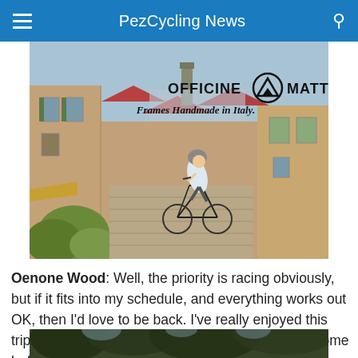PezCycling News
[Figure (photo): Advertisement photo for Officine Mattio showing a cyclist riding through an Italian cobblestone street with old buildings, with the text 'OFFICINE MATTIO - Frames Handmade in Italy']
Oenone Wood: Well, the priority is racing obviously, but if it fits into my schedule, and everything works out OK, then I'd love to be back. I've really enjoyed this trip, and it's kind of set me up for a rest period at home before I build up for 2007.
[Figure (photo): Partial photo of trees with dark foliage against sky, partially visible at bottom of page]